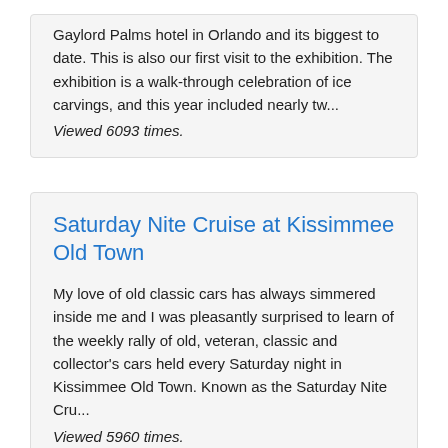Gaylord Palms hotel in Orlando and its biggest to date. This is also our first visit to the exhibition. The exhibition is a walk-through celebration of ice carvings, and this year included nearly tw... Viewed 6093 times.
Saturday Nite Cruise at Kissimmee Old Town
My love of old classic cars has always simmered inside me and I was pleasantly surprised to learn of the weekly rally of old, veteran, classic and collector's cars held every Saturday night in Kissimmee Old Town. Known as the Saturday Nite Cru... Viewed 5960 times.
Lucie Florida...